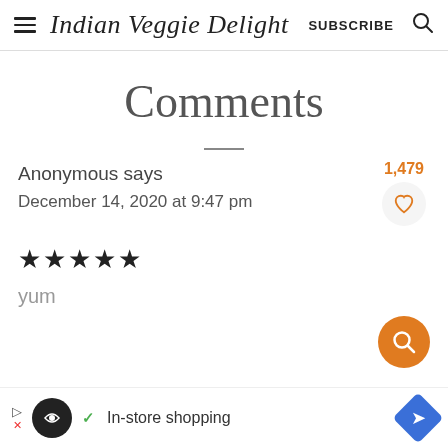Indian Veggie Delight — SUBSCRIBE
Comments
Anonymous says
December 14, 2020 at 9:47 pm
1,479
★★★★★
yum
In-store shopping